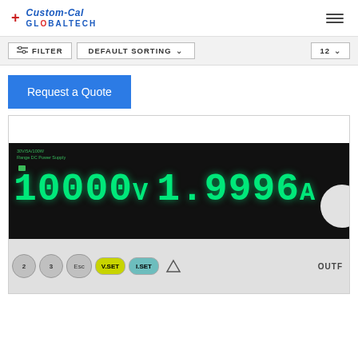Custom-Cal GLOBALTECH
FILTER   DEFAULT SORTING ∨   12 ∨
Request a Quote
[Figure (photo): DC Power Supply instrument showing green LED display reading 10000V and 1.9996A, with control buttons including V.SET, I.SET, and numeric keypad visible at the bottom]